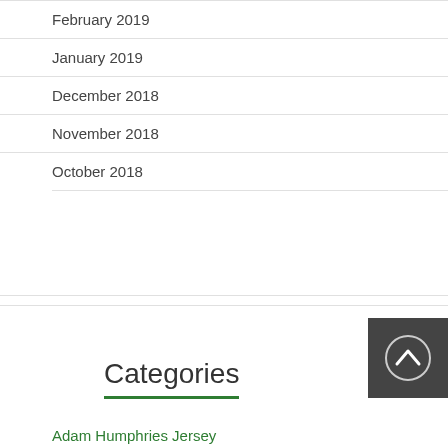February 2019
January 2019
December 2018
November 2018
October 2018
Categories
Adam Humphries Jersey